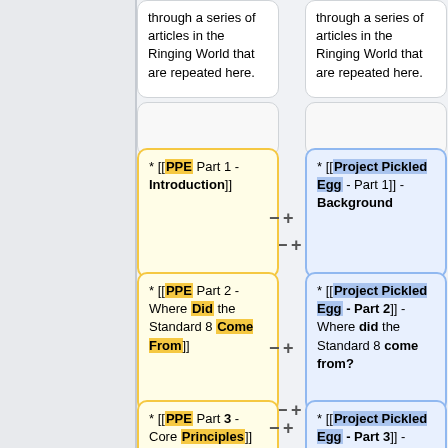through a series of articles in the Ringing World that are repeated here.
through a series of articles in the Ringing World that are repeated here.
* [[PPE Part 1 - Introduction]]
* [[Project Pickled Egg - Part 1]] - Background
* [[PPE Part 2 - Where Did the Standard 8 Come From]]
* [[Project Pickled Egg - Part 2]] - Where did the Standard 8 come from?
* [[PPE Part 3 - Core Principles]]
* [[Project Pickled Egg - Part 3]] - Core Principles